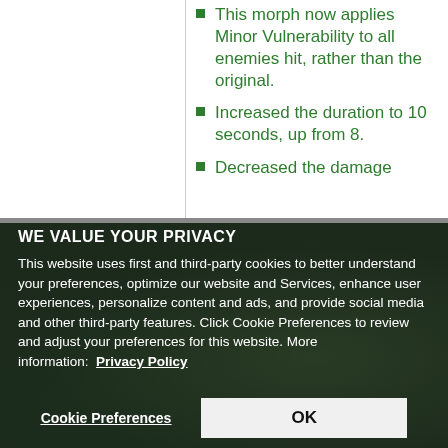This morph now applies Minor Vulnerability to all enemies hit, rather than the original.
Increased the duration to 10 seconds, up from 8.
Decreased the damage
WE VALUE YOUR PRIVACY
This website uses first and third-party cookies to better understand your preferences, optimize our website and Services, enhance user experiences, personalize content and ads, and provide social media and other third-party features. Click Cookie Preferences to review and adjust your preferences for this website. More information: Privacy Policy
Cookie Preferences
OK